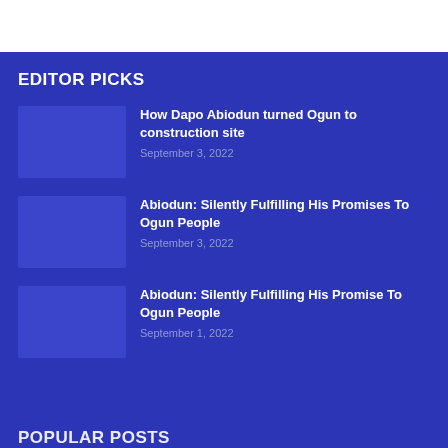EDITOR PICKS
How Dapo Abiodun turned Ogun to construction site — September 3, 2022
Abiodun: Silently Fulfilling His Promises To Ogun People — September 3, 2022
Abiodun: Silently Fulfilling His Promise To Ogun People — September 1, 2022
POPULAR POSTS